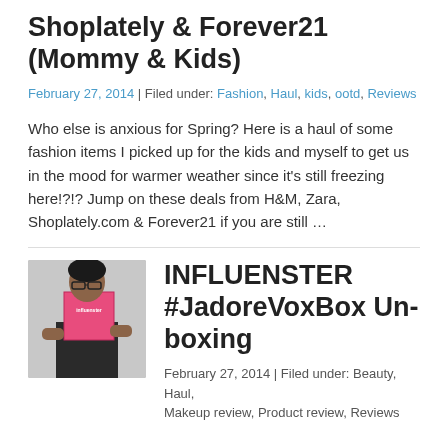Shoplately & Forever21 (Mommy & Kids)
February 27, 2014 | Filed under: Fashion, Haul, kids, ootd, Reviews
Who else is anxious for Spring? Here is a haul of some fashion items I picked up for the kids and myself to get us in the mood for warmer weather since it's still freezing here!?!? Jump on these deals from H&M, Zara, Shoplately.com & Forever21 if you are still …
[Figure (photo): Person holding a pink Influenster JadoreVoxBox]
INFLUENSTER #JadoreVoxBox Unboxing
February 27, 2014 | Filed under: Beauty, Haul, Makeup review, Product review, Reviews